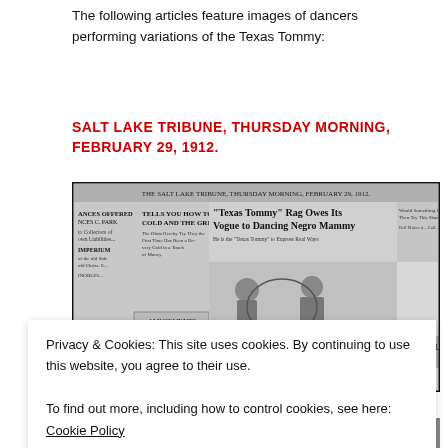The following articles feature images of dancers performing variations of the Texas Tommy:
SALT LAKE TRIBUNE, THURSDAY MORNING, FEBRUARY 29, 1912.
[Figure (photo): Scanned newspaper front page from the Salt Lake Tribune, Thursday Morning, February 29, 1912, showing headline 'Texas Tommy Rag Owes Its Vogue to Dancing Negro Mammy' with illustrations of dancers.]
Privacy & Cookies: This site uses cookies. By continuing to use this website, you agree to their use. To find out more, including how to control cookies, see here: Cookie Policy
CLOSE AND ACCEPT